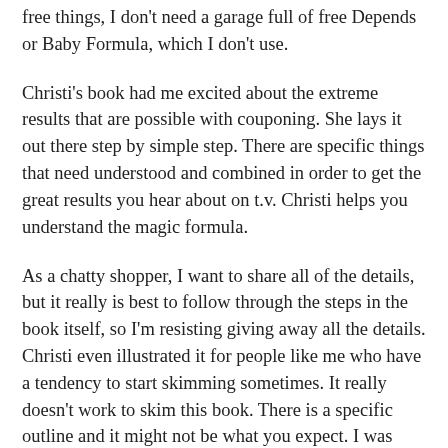free things, I don't need a garage full of free Depends or Baby Formula, which I don't use.
Christi's book had me excited about the extreme results that are possible with couponing. She lays it out there step by simple step. There are specific things that need understood and combined in order to get the great results you hear about on t.v. Christi helps you understand the magic formula.
As a chatty shopper, I want to share all of the details, but it really is best to follow through the steps in the book itself, so I'm resisting giving away all the details. Christi even illustrated it for people like me who have a tendency to start skimming sometimes. It really doesn't work to skim this book. There is a specific outline and it might not be what you expect. I was surprised when I read that I should sort and store my coupons by date, rather than by product type. But once I read on and was able to connect the dots with the rest of the plan, it made perfect sense.
A common misconception about couponing is that you will end up buying things you don't need just because you have a coupon for it, causing you to spend more money in the long run. Coupons have